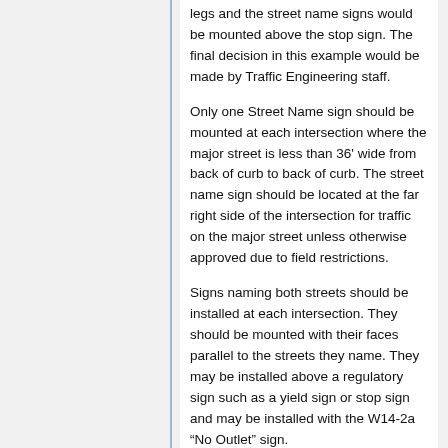legs and the street name signs would be mounted above the stop sign. The final decision in this example would be made by Traffic Engineering staff.
Only one Street Name sign should be mounted at each intersection where the major street is less than 36' wide from back of curb to back of curb. The street name sign should be located at the far right side of the intersection for traffic on the major street unless otherwise approved due to field restrictions.
Signs naming both streets should be installed at each intersection. They should be mounted with their faces parallel to the streets they name. They may be installed above a regulatory sign such as a yield sign or stop sign and may be installed with the W14-2a “No Outlet” sign.